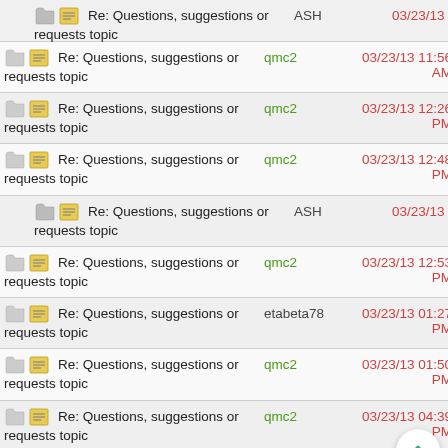Re: Questions, suggestions or requests topic | ASH | 03/23/13 12:42 PM
Re: Questions, suggestions or requests topic | qmc2 | 03/23/13 11:56 AM
Re: Questions, suggestions or requests topic | qmc2 | 03/23/13 12:26 PM
Re: Questions, suggestions or requests topic | qmc2 | 03/23/13 12:48 PM
Re: Questions, suggestions or requests topic | ASH | 03/23/13 01:00 PM
Re: Questions, suggestions or requests topic | qmc2 | 03/23/13 12:53 PM
Re: Questions, suggestions or requests topic | etabeta78 | 03/23/13 01:27 PM
Re: Questions, suggestions or requests topic | qmc2 | 03/23/13 01:50 PM
Re: Questions, suggestions or requests topic | qmc2 | 03/23/13 04:39 PM
Re: Questions, suggestions or requests topic | ASH | 03/23/13 04:44 PM